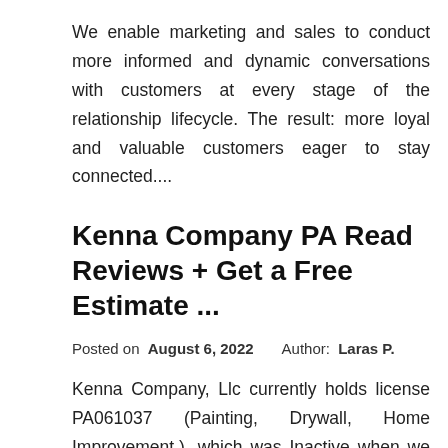We enable marketing and sales to conduct more informed and dynamic conversations with customers at every stage of the relationship lifecycle. The result: more loyal and valuable customers eager to stay connected....
Kenna Company PA Read Reviews + Get a Free Estimate ...
Posted on  August 6, 2022    Author: Laras P.
Kenna Company, Llc currently holds license PA061037 (Painting, Drywall, Home Improvement.), which was Inactive when we last